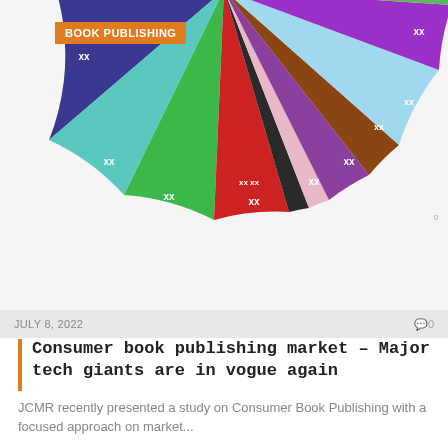[Figure (pie-chart): Pie chart showing consumer book publishing market share with multiple colored segments labeled xx]
BOOK PUBLISHING
JULY 8, 2022
Consumer book publishing market – Major tech giants are in vogue again
JCMR recently presented a study on Consumer Book Publishing with a focused approach on market...